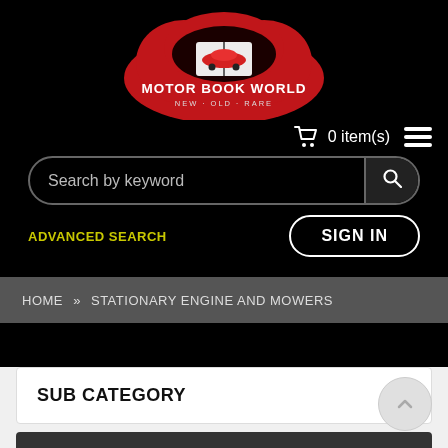[Figure (logo): Motor Book World logo - red cloud/dome shape with a red sports car and an open book, text reads MOTOR BOOK WORLD, NEW · OLD · RARE]
0 item(s)
Search by keyword
ADVANCED SEARCH
SIGN IN
HOME » STATIONARY ENGINE AND MOWERS
SUB CATEGORY